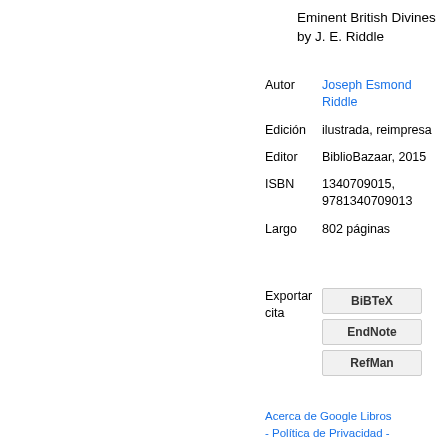Eminent British Divines by J. E. Riddle
| Autor | Joseph Esmond Riddle |
| Edición | ilustrada, reimpresa |
| Editor | BiblioBazaar, 2015 |
| ISBN | 1340709015, 9781340709013 |
| Largo | 802 páginas |
| Exportar cita | BiBTeX | EndNote | RefMan |
Acerca de Google Libros - Política de Privacidad -